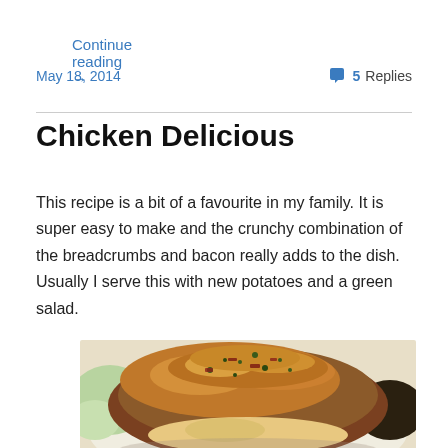Continue reading →
May 18, 2014
5 Replies
Chicken Delicious
This recipe is a bit of a favourite in my family. It is super easy to make and the crunchy combination of the breadcrumbs and bacon really adds to the dish. Usually I serve this with new potatoes and a green salad.
[Figure (photo): A photo of a chicken dish with breadcrumb and bacon topping on a plate with green garnish]